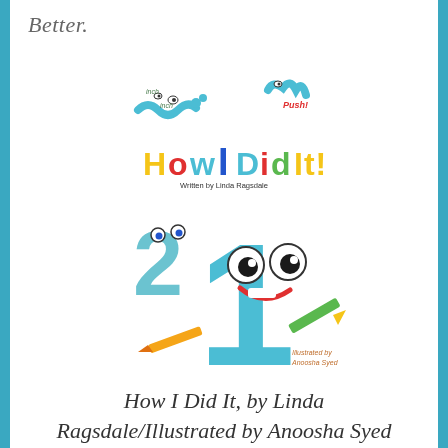Better.
[Figure (illustration): Book cover of 'How I Did It!' by Linda Ragsdale, illustrated by Anoosha Syed. Features animated number characters with faces — a large teal number 1 with a smiling face and googly eyes in the center, a smaller teal number 2 on the left, and squiggly teal number characters at the top. The title 'How I Did It!' is displayed in colorful letters (yellow, blue, red, green). Text on the cover reads 'Written by Linda Ragsdale' and 'Illustrated by Anoosha Syed'. A green pencil and orange/yellow pencil are visible near the bottom.]
How I Did It, by Linda Ragsdale/Illustrated by Anoosha Syed